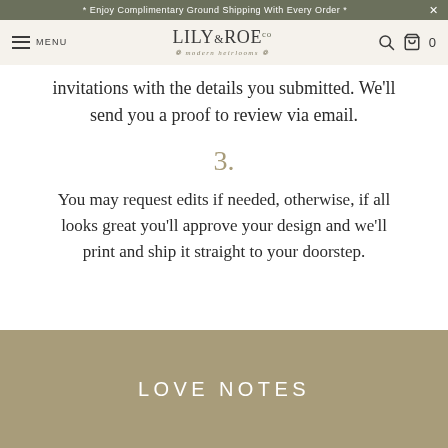* Enjoy Complimentary Ground Shipping With Every Order *
[Figure (screenshot): Lily & Roe Co. website navigation bar with hamburger menu, logo, search and bag icons]
invitations with the details you submitted. We'll send you a proof to review via email.
3.
You may request edits if needed, otherwise, if all looks great you'll approve your design and we'll print and ship it straight to your doorstep.
LOVE NOTES